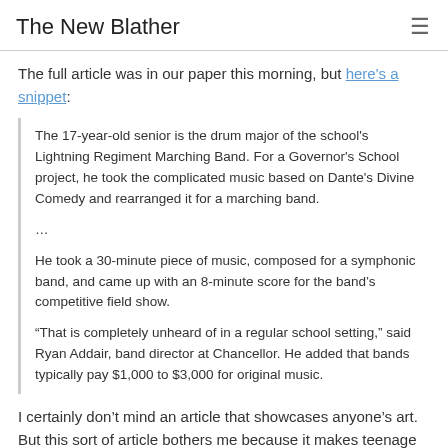The New Blather
The full article was in our paper this morning, but here's a snippet:
The 17-year-old senior is the drum major of the school's Lightning Regiment Marching Band. For a Governor's School project, he took the complicated music based on Dante's Divine Comedy and rearranged it for a marching band.

...

He took a 30-minute piece of music, composed for a symphonic band, and came up with an 8-minute score for the band's competitive field show.

“That is completely unheard of in a regular school setting,” said Ryan Addair, band director at Chancellor. He added that bands typically pay $1,000 to $3,000 for original music.
I certainly don’t mind an article that showcases anyone’s art. But this sort of article bothers me because it makes teenage musical